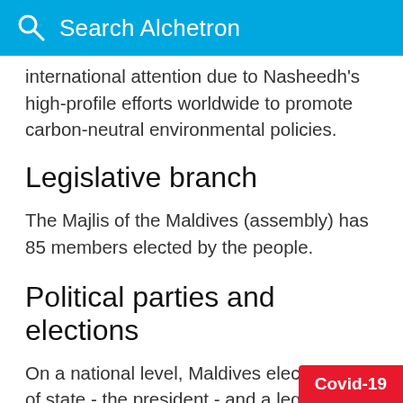Search Alchetron
…attention due to Nasheedh's high-profile efforts worldwide to promote carbon-neutral environmental policies.
Legislative branch
The Majlis of the Maldives (assembly) has 85 members elected by the people.
Political parties and elections
On a national level, Maldives elects a head of state - the president - and a legislature. The president is elected for a five-year term by parliament confirmed in a referendum by the people. In this